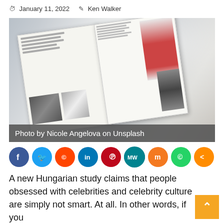January 11, 2022   Ken Walker
[Figure (photo): Open fashion magazine on a white surface with sunlight and shadows, showing models in red and dark outfits]
Photo by Nicole Angelova on Unsplash
[Figure (infographic): Row of social media share icons: Facebook, Twitter, Reddit, LinkedIn, Pinterest, MeWe, Mix, WhatsApp, Share]
A new Hungarian study claims that people obsessed with celebrities and celebrity culture are simply not smart. At all. In other words, if you